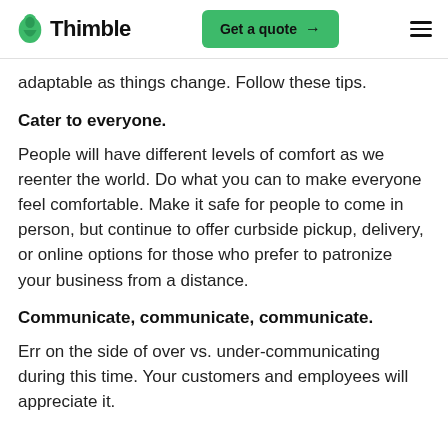Thimble | Get a quote
adaptable as things change. Follow these tips.
Cater to everyone.
People will have different levels of comfort as we reenter the world. Do what you can to make everyone feel comfortable. Make it safe for people to come in person, but continue to offer curbside pickup, delivery, or online options for those who prefer to patronize your business from a distance.
Communicate, communicate, communicate.
Err on the side of over vs. under-communicating during this time. Your customers and employees will appreciate it.